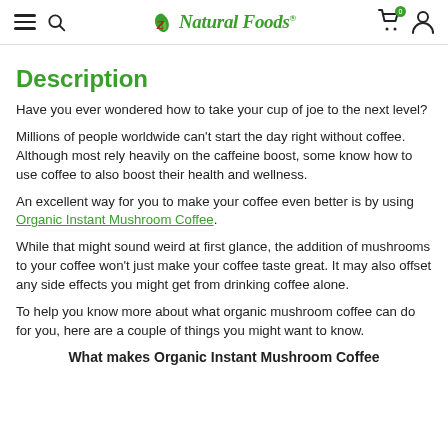Z Natural Foods
Description
Have you ever wondered how to take your cup of joe to the next level?
Millions of people worldwide can't start the day right without coffee. Although most rely heavily on the caffeine boost, some know how to use coffee to also boost their health and wellness.
An excellent way for you to make your coffee even better is by using Organic Instant Mushroom Coffee.
While that might sound weird at first glance, the addition of mushrooms to your coffee won't just make your coffee taste great. It may also offset any side effects you might get from drinking coffee alone.
To help you know more about what organic mushroom coffee can do for you, here are a couple of things you might want to know.
What makes Organic Instant Mushroom Coffee